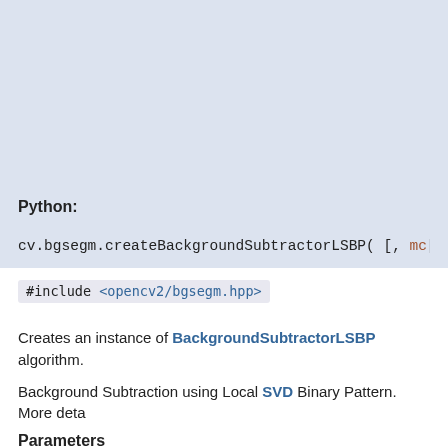Python:
cv.bgsegm.createBackgroundSubtractorLSBP( [, mc[, nSamples[, LS
#include <opencv2/bgsegm.hpp>
Creates an instance of BackgroundSubtractorLSBP algorithm.
Background Subtraction using Local SVD Binary Pattern. More deta
Parameters
mc — Whether to use camera mo
nSamples — Number of samples to main
LSBPRadius — LSBP descriptor radius.